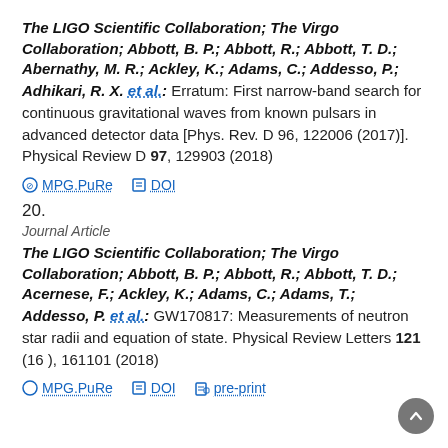The LIGO Scientific Collaboration; The Virgo Collaboration; Abbott, B. P.; Abbott, R.; Abbott, T. D.; Abernathy, M. R.; Ackley, K.; Adams, C.; Addesso, P.; Adhikari, R. X. et al.: Erratum: First narrow-band search for continuous gravitational waves from known pulsars in advanced detector data [Phys. Rev. D 96, 122006 (2017)]. Physical Review D 97, 129903 (2018)
MPG.PuRe   DOI
20.
Journal Article
The LIGO Scientific Collaboration; The Virgo Collaboration; Abbott, B. P.; Abbott, R.; Abbott, T. D.; Acernese, F.; Ackley, K.; Adams, C.; Adams, T.; Addesso, P. et al.: GW170817: Measurements of neutron star radii and equation of state. Physical Review Letters 121 (16 ), 161101 (2018)
MPG.PuRe   DOI   pre-print